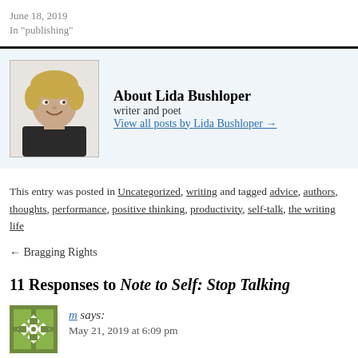June 18, 2019
In "publishing"
About Lida Bushloper
writer and poet
View all posts by Lida Bushloper →
[Figure (photo): Portrait photo of Lida Bushloper, a woman with short blonde hair, smiling, wearing dark clothing]
This entry was posted in Uncategorized, writing and tagged advice, authors, thoughts, performance, positive thinking, productivity, self-talk, the writing life
← Bragging Rights
11 Responses to Note to Self: Stop Talking
[Figure (other): Green and white geometric quilt-pattern avatar for commenter m]
m says:
May 21, 2019 at 6:09 pm
I love to read how you so fully capture the writing...